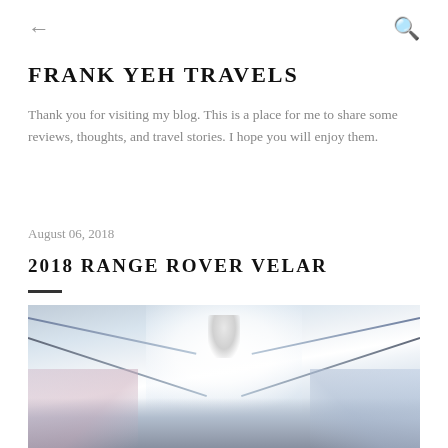← (back) | Q (search)
FRANK YEH TRAVELS
Thank you for visiting my blog. This is a place for me to share some reviews, thoughts, and travel stories. I hope you will enjoy them.
August 06, 2018
2018 RANGE ROVER VELAR
[Figure (photo): Interior photo of a Range Rover Velar showing the ceiling/roof panel with a bright overhead light and diagonal lines of the roof structure, with pinkish and bluish color tones on the sides.]